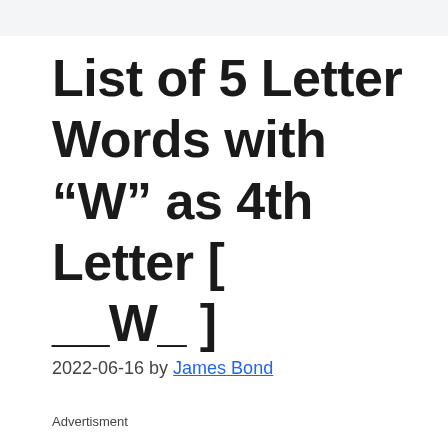List of 5 Letter Words with “W” as 4th Letter [ __W_ ]
2022-06-16 by James Bond
Advertisment